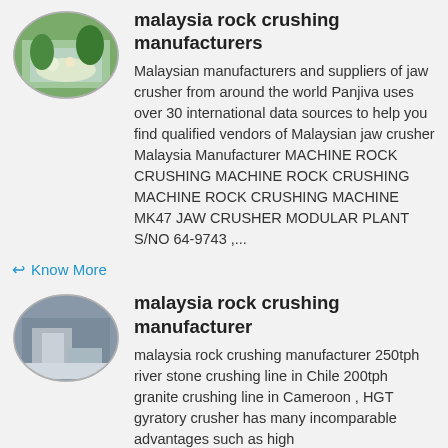[Figure (photo): Oval thumbnail image showing a table with food and tropical plants]
malaysia rock crushing manufacturers
Malaysian manufacturers and suppliers of jaw crusher from around the world Panjiva uses over 30 international data sources to help you find qualified vendors of Malaysian jaw crusher Malaysia Manufacturer MACHINE ROCK CRUSHING MACHINE ROCK CRUSHING MACHINE ROCK CRUSHING MACHINE MK47 JAW CRUSHER MODULAR PLANT S/NO 64-9743 ,...
Know More
[Figure (photo): Oval thumbnail image showing a rock crushing machine in an industrial setting]
malaysia rock crushing manufacturer
malaysia rock crushing manufacturer 250tph river stone crushing line in Chile 200tph granite crushing line in Cameroon , HGT gyratory crusher has many incomparable advantages such as high